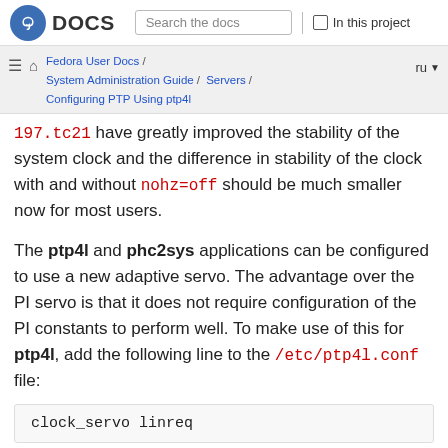Fedora DOCS | Search the docs | In this project
Fedora User Docs / System Administration Guide / Servers / Configuring PTP Using ptp4l | ru
197.tc21 have greatly improved the stability of the system clock and the difference in stability of the clock with and without nohz=off should be much smaller now for most users.
The ptp4l and phc2sys applications can be configured to use a new adaptive servo. The advantage over the PI servo is that it does not require configuration of the PI constants to perform well. To make use of this for ptp4l, add the following line to the /etc/ptp4l.conf file:
clock_servo linreq